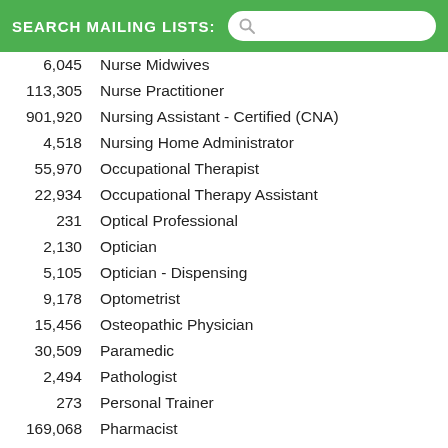SEARCH MAILING LISTS:
6,045   Nurse Midwives
113,305   Nurse Practitioner
901,920   Nursing Assistant - Certified (CNA)
4,518   Nursing Home Administrator
55,970   Occupational Therapist
22,934   Occupational Therapy Assistant
231   Optical Professional
2,130   Optician
5,105   Optician - Dispensing
9,178   Optometrist
15,456   Osteopathic Physician
30,509   Paramedic
2,494   Pathologist
273   Personal Trainer
169,068   Pharmacist
10,148   Pharmacist - Intern
13,488   Pharmacy Professional
132,181   Pharmacy Technician